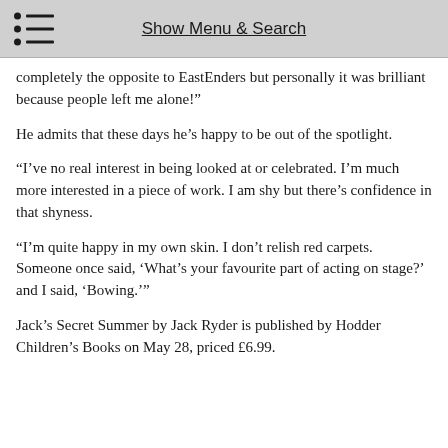Show Menu & Search
completely the opposite to EastEnders but personally it was brilliant because people left me alone!"
He admits that these days he’s happy to be out of the spotlight.
“I’ve no real interest in being looked at or celebrated. I’m much more interested in a piece of work. I am shy but there’s confidence in that shyness.
“I’m quite happy in my own skin. I don’t relish red carpets. Someone once said, ‘What’s your favourite part of acting on stage?’ and I said, ‘Bowing.’”
Jack’s Secret Summer by Jack Ryder is published by Hodder Children’s Books on May 28, priced £6.99.